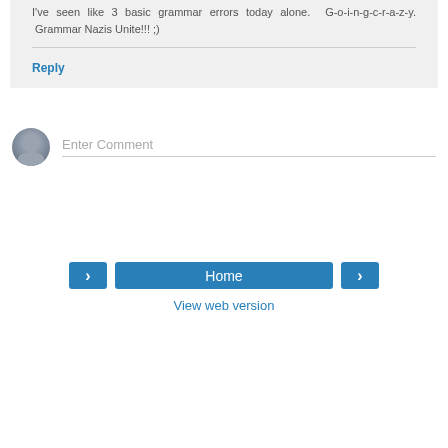I've seen like 3 basic grammar errors today alone. G-o-i-n-g-c-r-a-z-y. Grammar Nazis Unite!!! ;)
Reply
Enter Comment
‹
Home
›
View web version